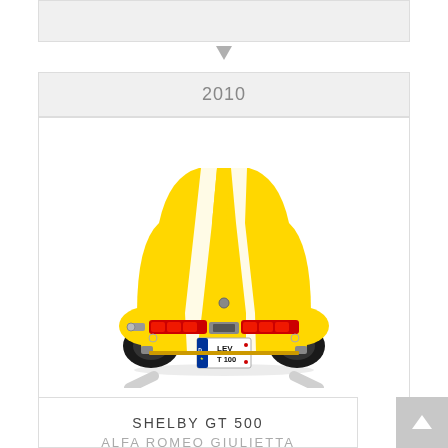[Figure (other): Partial gray banner from previous section at top of page]
2010
[Figure (illustration): Rear view of a yellow Shelby GT 500 muscle car with white racing stripes, red tail lights, and a German license plate reading LEV T 100, viewed straight from behind on a white background with faint track lines below the tires]
SHELBY GT 500
ALFA ROMEO GIULIETTA